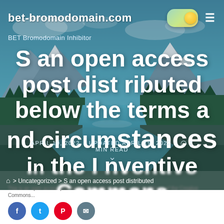bet-bromodomain.com
BET Bromodomain Inhibitor
S an open access post distributed below the terms and circumstances in the Inventive Commons
APRIL 19, 2022   UPDATED APRIL 19, 2022   2 MIN READ
> Uncategorized > S an open access post distributed